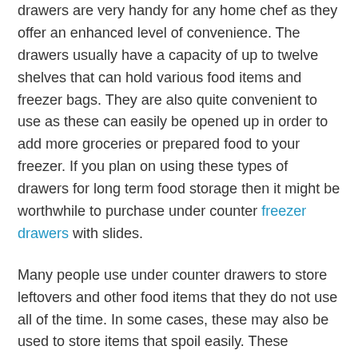drawers are very handy for any home chef as they offer an enhanced level of convenience. The drawers usually have a capacity of up to twelve shelves that can hold various food items and freezer bags. They are also quite convenient to use as these can easily be opened up in order to add more groceries or prepared food to your freezer. If you plan on using these types of drawers for long term food storage then it might be worthwhile to purchase under counter freezer drawers with slides.
Many people use under counter drawers to store leftovers and other food items that they do not use all of the time. In some cases, these may also be used to store items that spoil easily. These refrigerator freezers are commonly used in school cafeterias. Leftovers that are rarely used end up sitting in the corner of a cafeteria for a long period of time before they are finally thrown away. This is why it is important for you to know how to properly use your under-counter refrigerator drawers.